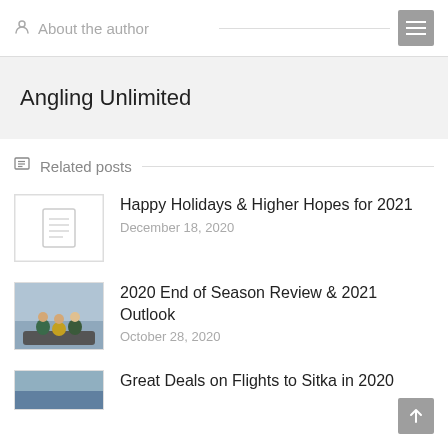About the author
Angling Unlimited
Related posts
Happy Holidays & Higher Hopes for 2021 — December 18, 2020
2020 End of Season Review & 2021 Outlook — October 28, 2020
Great Deals on Flights to Sitka in 2020